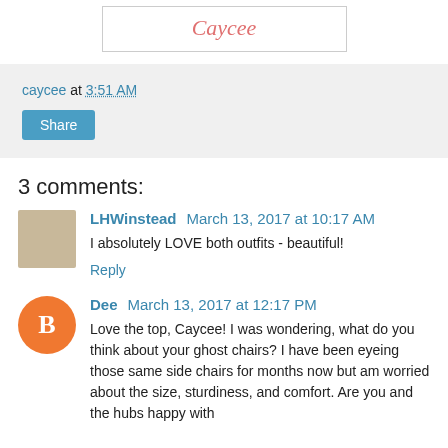[Figure (illustration): Blog signature with cursive text 'Caycee' in pinkish-red color inside a white box with light border]
caycee at 3:51 AM
Share
3 comments:
LHWinstead March 13, 2017 at 10:17 AM
I absolutely LOVE both outfits - beautiful!
Reply
Dee March 13, 2017 at 12:17 PM
Love the top, Caycee! I was wondering, what do you think about your ghost chairs? I have been eyeing those same side chairs for months now but am worried about the size, sturdiness, and comfort. Are you and the hubs happy with